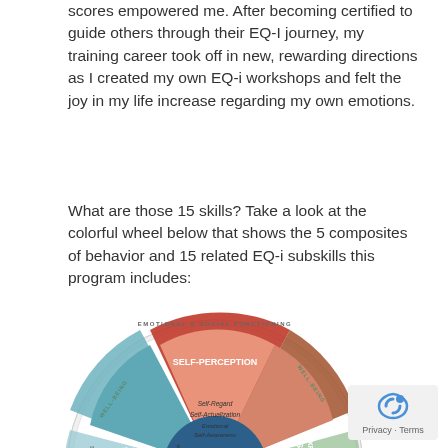scores empowered me. After becoming certified to guide others through their EQ-I journey, my training career took off in new, rewarding directions as I created my own EQ-i workshops and felt the joy in my life increase regarding my own emotions.
What are those 15 skills? Take a look at the colorful wheel below that shows the 5 composites of behavior and 15 related EQ-i subskills this program includes:
[Figure (infographic): Circular wheel diagram showing Emotional Intelligence with 5 composites: Self-Perception (red, top center), Self-Expression (brown, right), Stress Management (blue-green, left), Well-Being (outer ring), and Performance. The center shows 'Emotional Intelligence' in a blue circle. Inner segments show subskills including Self-Regard, Self-Actualization, Emotional Self-Awareness, Flexibility, Stress Tolerance, Optimism, and others. Outer ring labeled 'Emotional & Social Functioning'.]